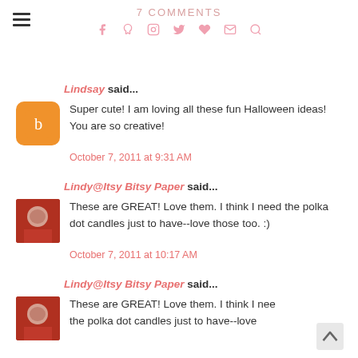7 COMMENTS
Lindsay said...
Super cute! I am loving all these fun Halloween ideas! You are so creative!
October 7, 2011 at 9:31 AM
Lindy@Itsy Bitsy Paper said...
These are GREAT! Love them. I think I need the polka dot candles just to have--love those too. :)
October 7, 2011 at 10:17 AM
Lindy@Itsy Bitsy Paper said...
These are GREAT! Love them. I think I need the polka dot candles just to have--love